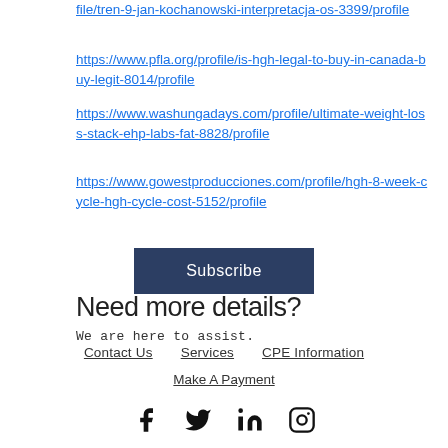file/tren-9-jan-kochanowski-interpretacja-os-3399/profile
https://www.pfla.org/profile/is-hgh-legal-to-buy-in-canada-buy-legit-8014/profile
https://www.washungadays.com/profile/ultimate-weight-loss-stack-ehp-labs-fat-8828/profile
https://www.gowestproducciones.com/profile/hgh-8-week-cycle-hgh-cycle-cost-5152/profile
Subscribe
Need more details?
We are here to assist.
Contact Us   Services   CPE Information   Make A Payment
[Figure (illustration): Social media icons: Facebook, Twitter, LinkedIn, Instagram]